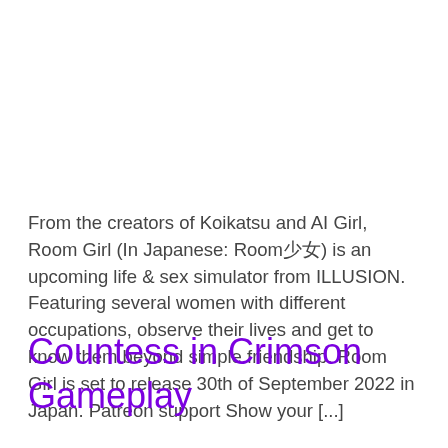From the creators of Koikatsu and AI Girl, Room Girl (In Japanese: Room少女) is an upcoming life & sex simulator from ILLUSION. Featuring several women with different occupations, observe their lives and get to know them beyond simple friendship. Room Girl is set to release 30th of September 2022 in Japan. Patreon support Show your [...]
Countess in Crimson Gameplay